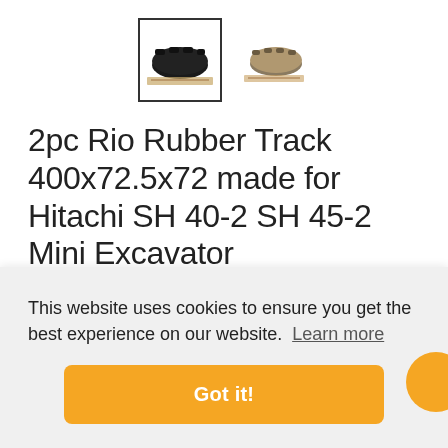[Figure (photo): Two product thumbnail images of rubber tracks: one with black border showing black rubber track, one without border showing gold/grey rubber track]
2pc Rio Rubber Track 400x72.5x72 made for Hitachi SH 40-2 SH 45-2 Mini Excavator
☆ ☆ ☆ ☆ ☆ No reviews
This website uses cookies to ensure you get the best experience on our website.  Learn more
Got it!